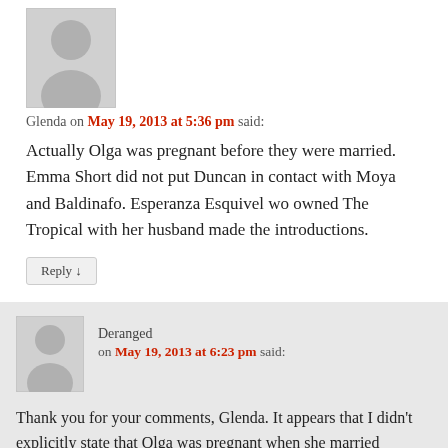[Figure (illustration): Gray placeholder avatar icon (person silhouette) for user Glenda]
Glenda on May 19, 2013 at 5:36 pm said:
Actually Olga was pregnant before they were married. Emma Short did not put Duncan in contact with Moya and Baldinafo. Esperanza Esquivel wo owned The Tropical with her husband made the introductions.
Reply ↓
[Figure (illustration): Gray placeholder avatar icon (person silhouette) for user Deranged]
Deranged on May 19, 2013 at 6:23 pm said:
Thank you for your comments, Glenda. It appears that I didn't explicitly state that Olga was pregnant when she married Frank and I should have clarified. I knew from my reading that she was a pregnant bride and that was part of what had made Ma so angry, she felt Frank had been tricked